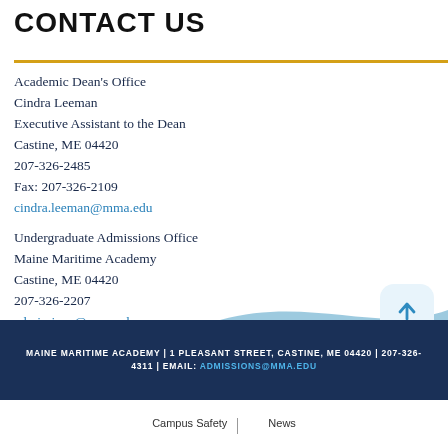CONTACT US
Academic Dean's Office
Cindra Leeman
Executive Assistant to the Dean
Castine, ME 04420
207-326-2485
Fax: 207-326-2109
cindra.leeman@mma.edu
Undergraduate Admissions Office
Maine Maritime Academy
Castine, ME 04420
207-326-2207
admissions@mma.edu
MAINE MARITIME ACADEMY | 1 PLEASANT STREET, CASTINE, ME 04420 | 207-326-4311 | EMAIL: ADMISSIONS@MMA.EDU
Campus Safety | News